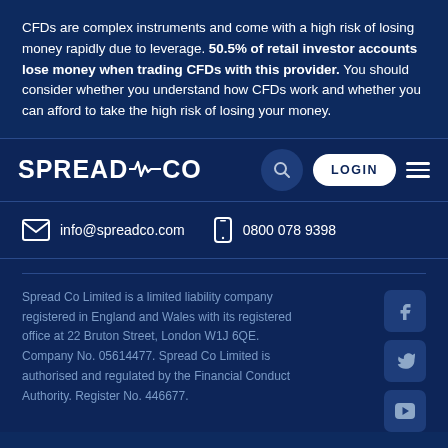CFDs are complex instruments and come with a high risk of losing money rapidly due to leverage. 50.5% of retail investor accounts lose money when trading CFDs with this provider. You should consider whether you understand how CFDs work and whether you can afford to take the high risk of losing your money.
[Figure (logo): Spread Co logo with heartbeat/pulse line between SPREAD and CO text, white on dark navy background]
info@spreadco.com   0800 078 9398
Spread Co Limited is a limited liability company registered in England and Wales with its registered office at 22 Bruton Street, London W1J 6QE. Company No. 05614477. Spread Co Limited is authorised and regulated by the Financial Conduct Authority. Register No. 446677.
[Figure (illustration): Social media icons: Facebook, Twitter, YouTube on dark navy rounded square buttons]